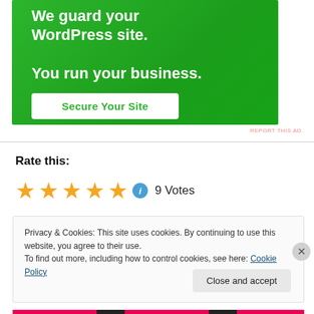[Figure (illustration): Green advertisement banner with white bold text: 'We guard your WordPress site. You run your business.' and a white button labeled 'Secure Your Site' in green text.]
REPORT THIS AD
Rate this:
[Figure (other): Five gold star rating icons followed by a blue info icon circle, then '9 Votes' text]
Privacy & Cookies: This site uses cookies. By continuing to use this website, you agree to their use.
To find out more, including how to control cookies, see here: Cookie Policy
Close and accept